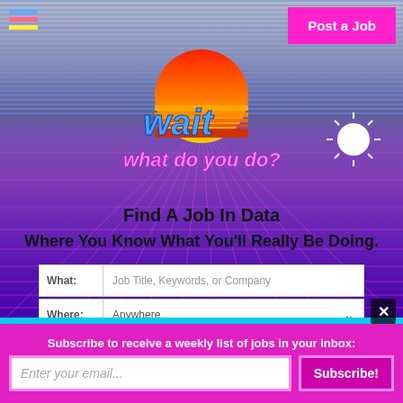[Figure (screenshot): Retro vaporwave-style job board website screenshot with purple/magenta gradient background, neon grid floor, hamburger menu, 'Post a Job' button, retro logo 'wait what do you do?', search fields, and category buttons]
Find A Job In Data
Where You Know What You'll Really Be Doing.
What: Job Title, Keywords, or Company
Where: Anywhere
Or search by category powered by ML
⊘ Analyst
⊙ Engineer
⊘ Scientist
⊘ Other
Subscribe to receive a weekly list of jobs in your inbox:
Enter your email...
Subscribe!